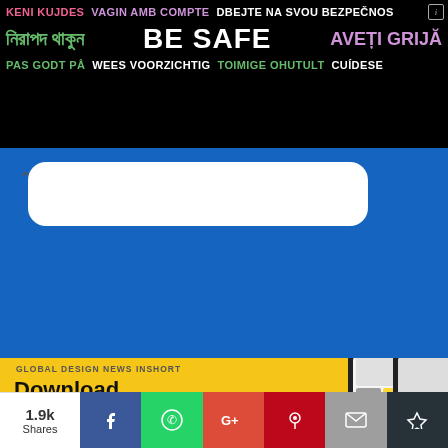[Figure (screenshot): Multilingual public safety banner with text in multiple languages: KENI KUJDES (pink), VAGIN AMB COMPTE (purple), DBEJTE NA SVOU BEZPEČNOS (white on right), Bengali text (green), BE SAFE (white bold center), AVEȚI GRIJĂ (purple right), PAS GODT PÅ (green), WEES VOORZICHTIG (white), TOIMIGE OHUTULT (green), CUÍDESE (white)]
[Figure (screenshot): Blue messenger-style chat interface with white chat bubble and caret arrow icon on left]
[Figure (screenshot): Yellow advertisement banner for app download: text 'GLOBAL DESIGN NEWS INSHORT' and 'Download the free app today!' with smartphone mockup showing design app on right side]
[Figure (screenshot): Social share bar at bottom: 1.9k Shares, Facebook (blue), WhatsApp (green), Google+ (red), Pinterest (dark red), Email (gray), Crown icon (dark)]